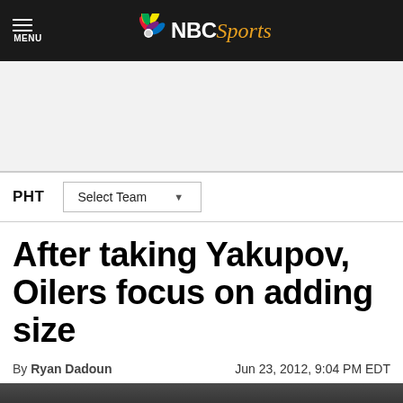NBC Sports — MENU
[Figure (logo): NBC Sports logo with peacock icon, white NBC text, and gold italic Sports text on dark background]
[Figure (other): Advertisement / banner ad space (gray background)]
PHT | Select Team
After taking Yakupov, Oilers focus on adding size
By Ryan Dadoun | Jun 23, 2012, 9:04 PM EDT
[Figure (photo): Partial photo of a person at what appears to be a draft event, with 2012 visible]